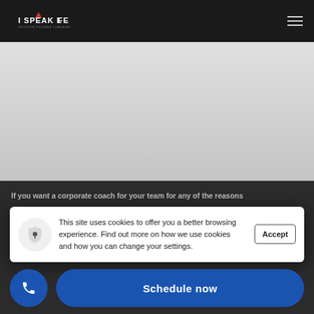I SPEAK LIFE — Solution Focused Coaching
[Figure (screenshot): Partially visible website background — light gray gradient area showing a webpage background]
If you want a corporate coach for your team for any of the reasons... ...because the number of people on your team has...
This site uses cookies to offer you a better browsing experience. Find out more on how we use cookies and how you can change your settings.
Accept
Schedule now